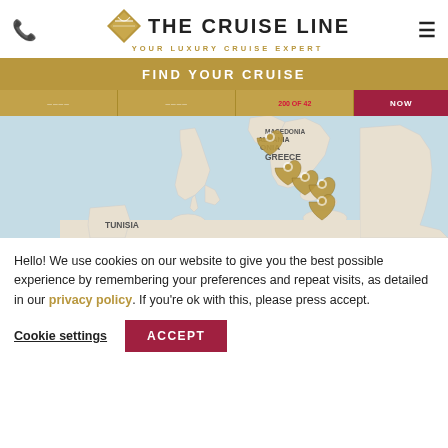[Figure (logo): The Cruise Line logo with diamond shape and text 'THE CRUISE LINE - YOUR LUXURY CRUISE EXPERT']
FIND YOUR CRUISE
[Figure (map): Map showing Mediterranean region including Greece, Albania, Macedonia, Tunisia with gold location pins placed in Greece area]
Hello! We use cookies on our website to give you the best possible experience by remembering your preferences and repeat visits, as detailed in our privacy policy. If you're ok with this, please press accept.
Cookie settings
ACCEPT